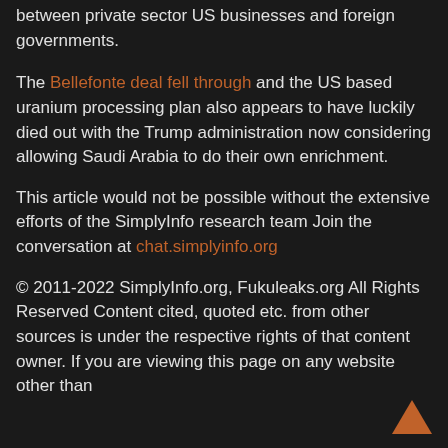between private sector US businesses and foreign governments.
The Bellefonte deal fell through and the US based uranium processing plan also appears to have luckily died out with the Trump administration now considering allowing Saudi Arabia to do their own enrichment.
This article would not be possible without the extensive efforts of the SimplyInfo research team Join the conversation at chat.simplyinfo.org
© 2011-2022 SimplyInfo.org, Fukuleaks.org All Rights Reserved Content cited, quoted etc. from other sources is under the respective rights of that content owner. If you are viewing this page on any website other than